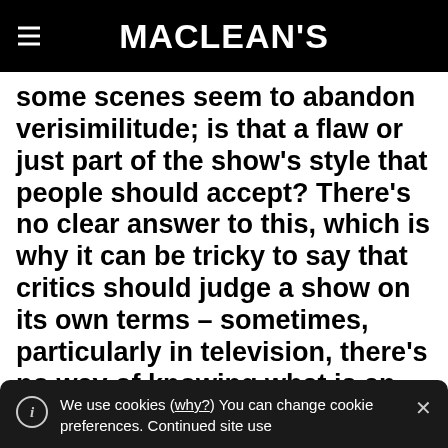MACLEAN'S
some scenes seem to abandon verisimilitude; is that a flaw or just part of the show's style that people should accept? There's no clear answer to this, which is why it can be tricky to say that critics should judge a show on its own terms – sometimes, particularly in television, there's no way of knowing what is an intentional part of the show and what is just corner-cutting. Don Bellisario's famous maxim about the logic of Quantum Leap
We use cookies (why?) You can change cookie preferences. Continued site use